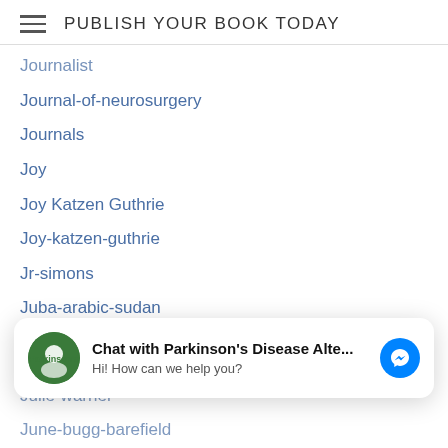PUBLISH YOUR BOOK TODAY
Journalist
Journal-of-neurosurgery
Journals
Joy
Joy Katzen Guthrie
Joy-katzen-guthrie
Jr-simons
Juba-arabic-sudan
Judaica
Judaica Gifts And Books
Judaism
Jude-brigley
Judeo-aramaic-middle-east
Judith-adams
Chat with Parkinson's Disease Alte...
Hi! How can we help you?
Julie-warner
June-bugg-barefield